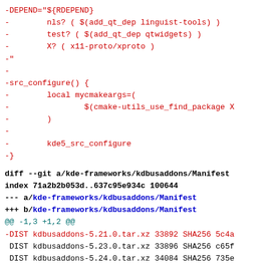-DEPEND="${RDEPEND}
-        nls? ( $(add_qt_dep linguist-tools) )
-        test? ( $(add_qt_dep qtwidgets) )
-        X? ( x11-proto/xproto )
-"
-
-src_configure() {
-        local mycmakeargs=(
-                $(cmake-utils_use_find_package X
-        )
-
-        kde5_src_configure
-}
diff --git a/kde-frameworks/kdbusaddons/Manifest
index 71a2b2b053d..637c95e934c 100644
--- a/kde-frameworks/kdbusaddons/Manifest
+++ b/kde-frameworks/kdbusaddons/Manifest
@@ -1,3 +1,2 @@
-DIST kdbusaddons-5.21.0.tar.xz 33892 SHA256 5c4a
 DIST kdbusaddons-5.23.0.tar.xz 33896 SHA256 c65f
 DIST kdbusaddons-5.24.0.tar.xz 34084 SHA256 735e